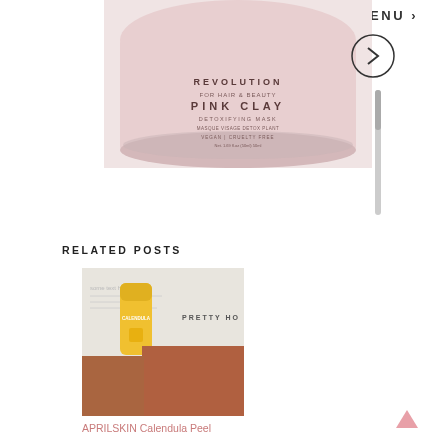MENU
[Figure (photo): Pink clay detoxifying mask product jar by Revolution Skincare, pink lid with text: REVOLUTION PINK CLAY DETOXIFYING MASK VEGAN | CRUELTY FREE]
[Figure (other): Navigation arrow button pointing right in a circle]
[Figure (other): Vertical scroll indicator bar]
RELATED POSTS
[Figure (photo): Collage image showing APRILSKIN Calendula Peel product (yellow tube) alongside a fashion image with orange/rust colored clothing, with text Pretty Ho... visible]
APRILSKIN Calendula Peel